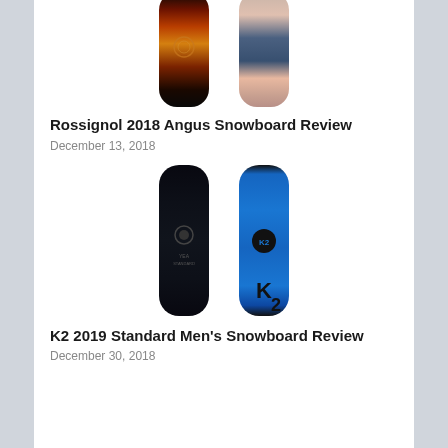[Figure (photo): Two snowboards side by side, partially cropped at top. Left board has dark artistic swirling pattern in orange/gold/red tones. Right board has blue/grey/pink abstract wave pattern.]
Rossignol 2018 Angus Snowboard Review
December 13, 2018
[Figure (photo): Two K2 snowboards side by side. Left board is dark/black with subtle graphics. Right board is bright blue with large K2 logo in black circle.]
K2 2019 Standard Men's Snowboard Review
December 30, 2018